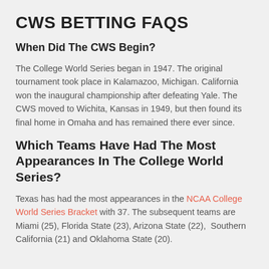CWS BETTING FAQS
When Did The CWS Begin?
The College World Series began in 1947. The original tournament took place in Kalamazoo, Michigan. California won the inaugural championship after defeating Yale. The CWS moved to Wichita, Kansas in 1949, but then found its final home in Omaha and has remained there ever since.
Which Teams Have Had The Most Appearances In The College World Series?
Texas has had the most appearances in the NCAA College World Series Bracket with 37. The subsequent teams are Miami (25), Florida State (23), Arizona State (22), Southern California (21) and Oklahoma State (20).